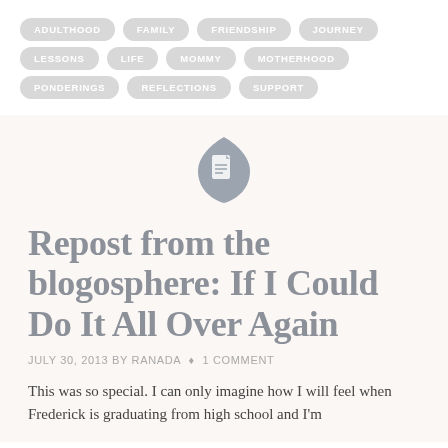ADULTHOOD
FAMILY
FRIENDSHIP
JOURNEY
LESSONS
LIFE
MOMMY
MOTHERHOOD
PONDERINGS
REFLECTIONS
SUPPORT
[Figure (logo): Document/shield shaped logo icon in gray]
Repost from the blogosphere: If I Could Do It All Over Again
JULY 30, 2013 BY RANADA • 1 COMMENT
This was so special. I can only imagine how I will feel when Frederick is graduating from high school and I'm